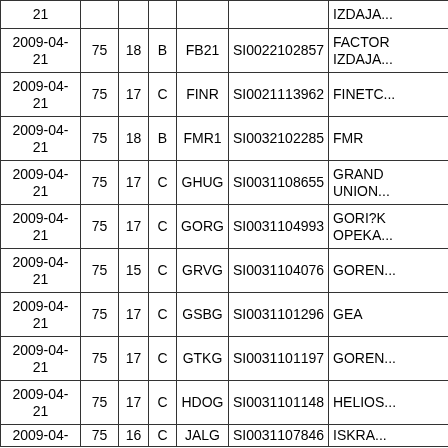| Date | Col2 | Col3 | Col4 | Ticker | ISIN | Name |
| --- | --- | --- | --- | --- | --- | --- |
| 21 |  |  |  |  |  | IZDAJA... |
| 2009-04-21 | 75 | 18 | B | FB21 | SI0022102857 | FACTOR IZDAJA... |
| 2009-04-21 | 75 | 17 | C | FINR | SI0021113962 | FINETC... |
| 2009-04-21 | 75 | 18 | B | FMR1 | SI0032102285 | FMR |
| 2009-04-21 | 75 | 17 | C | GHUG | SI0031108655 | GRAND UNION... |
| 2009-04-21 | 75 | 17 | C | GORG | SI0031104993 | GORI?K OPEKA... |
| 2009-04-21 | 75 | 15 | C | GRVG | SI0031104076 | GOREN... |
| 2009-04-21 | 75 | 17 | C | GSBG | SI0031101296 | GEA |
| 2009-04-21 | 75 | 17 | C | GTKG | SI0031101197 | GOREN... |
| 2009-04-21 | 75 | 17 | C | HDOG | SI0031101148 | HELIOS... |
| 2009-04-... | 75 | 16 | C | JALG | SI0031107846 | ISKRA... |